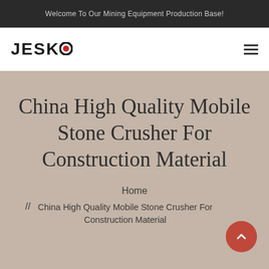Welcome To Our Mining Equipment Production Base!
[Figure (logo): JESCO logo with red dot replacing the O in JESCO, black bold sans-serif text]
China High Quality Mobile Stone Crusher For Construction Material
Home
// China High Quality Mobile Stone Crusher For Construction Material